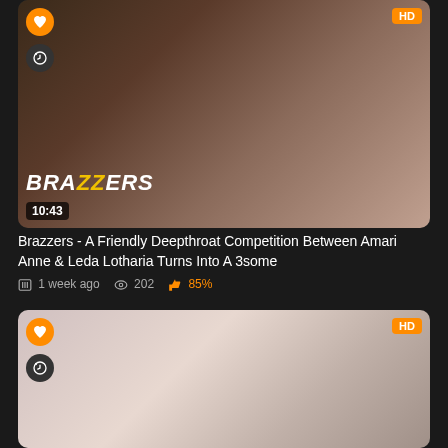[Figure (screenshot): Video thumbnail showing adult content with Brazzers logo and 10:43 duration badge, HD label, heart and history icons]
Brazzers - A Friendly Deepthroat Competition Between Amari Anne & Leda Lotharia Turns Into A 3some
1 week ago  202  85%
[Figure (screenshot): Second video thumbnail showing adult content, HD label, heart and history icons]